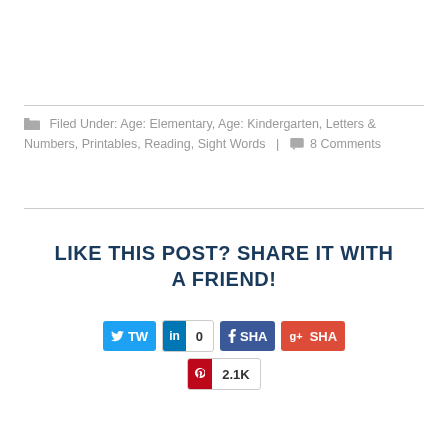Filed Under: Age: Elementary, Age: Kindergarten, Letters & Numbers, Printables, Reading, Sight Words | 8 Comments
LIKE THIS POST? SHARE IT WITH A FRIEND!
[Figure (screenshot): Social share buttons: Twitter (TW), LinkedIn (0), Facebook (SHA), Google+ (SHA), Pinterest (2.1K)]